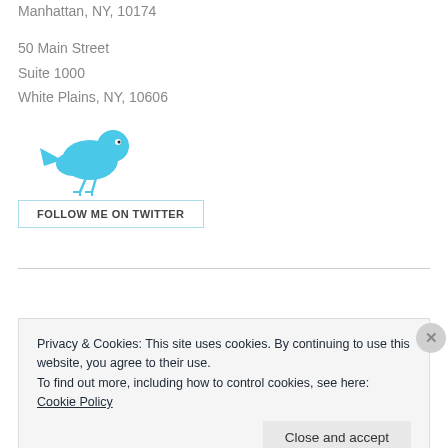Manhattan, NY, 10174
50 Main Street
Suite 1000
White Plains, NY, 10606
[Figure (illustration): Twitter bird logo (cyan/teal colored bird) above a 'FOLLOW ME ON TWITTER' button with light blue border]
Privacy & Cookies: This site uses cookies. By continuing to use this website, you agree to their use.
To find out more, including how to control cookies, see here: Cookie Policy
Close and accept